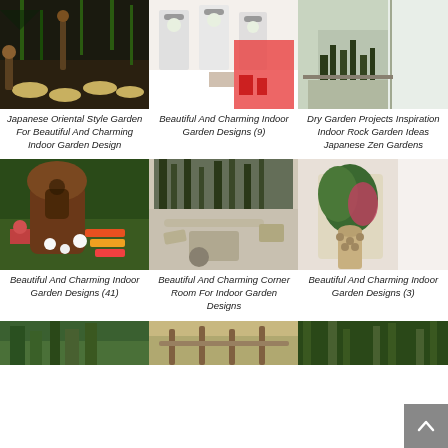[Figure (photo): Japanese oriental style garden path with round stepping stones and lanterns in dark garden setting]
Japanese Oriental Style Garden For Beautiful And Charming Indoor Garden Design
[Figure (photo): Beautiful and charming indoor garden designs with hanging white pots and red chairs]
Beautiful And Charming Indoor Garden Designs (9)
[Figure (photo): Dry garden projects with tall bamboo plants behind glass wall and rock garden]
Dry Garden Projects Inspiration Indoor Rock Garden Ideas Japanese Zen Gardens
[Figure (photo): Miniature fairy garden with colorful flowers, white pebbles and small figurines]
Beautiful And Charming Indoor Garden Designs (41)
[Figure (photo): Beautiful corner room for indoor garden with outdoor patio seating and bamboo plants]
Beautiful And Charming Corner Room For Indoor Garden Designs
[Figure (photo): Beautiful and charming indoor plant in ceramic pot with colorful leaf on windowsill]
Beautiful And Charming Indoor Garden Designs (3)
[Figure (photo): Bottom row partial photos of garden designs]
[Figure (photo): Bottom row partial photo of garden]
[Figure (photo): Bottom row partial photo of indoor green plants]